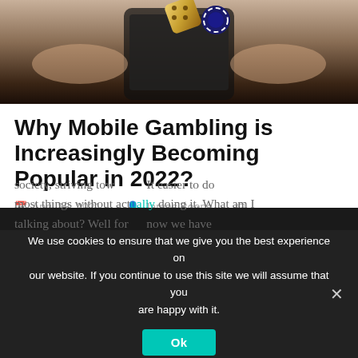[Figure (photo): Close-up photo of hands holding a smartphone with a golden dice and casino chip tossed in the air above the phone screen]
Why Mobile Gambling is Increasingly Becoming Popular in 2022?
April 18, 2021   James Boone   Gambling
Is it even necessary to state the obvious? This entire situation with a global pandemic and lack of movement and socialization are two things that benefit online shopping and online gambling. society, striving tow... It easier to do most things without actually doing it. What am I talking about? Well for... now we have
We use cookies to ensure that we give you the best experience on our website. If you continue to use this site we will assume that you are happy with it.